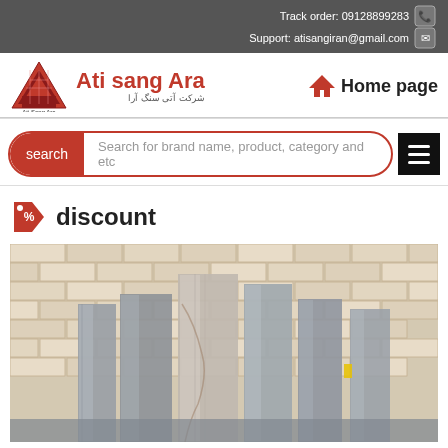Track order: 09128899283  Support: atisangiran@gmail.com
Ati sang Ara
Home page
search  Search for brand name, product, category and etc
discount
[Figure (photo): Marble/stone slabs leaning against a brick wall in a warehouse or yard]